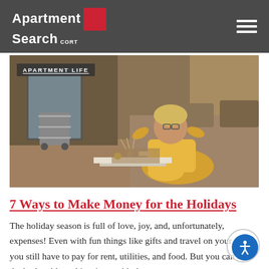Apartment Search CORT
[Figure (photo): Woman in yellow dress sitting cross-legged on floor of apartment, eating food, with APARTMENT LIFE badge overlay]
7 Ways to Make Money for the Holidays
The holiday season is full of love, joy, and, unfortunately, expenses! Even with fun things like gifts and travel on your mind, you still have to pay for rent, utilities, and food. But you can beat the budget blues this winter with these seven ways to